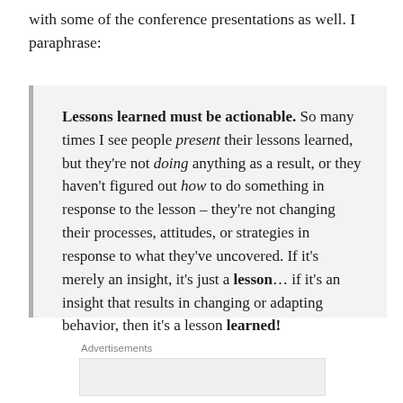with some of the conference presentations as well. I paraphrase:
Lessons learned must be actionable. So many times I see people present their lessons learned, but they're not doing anything as a result, or they haven't figured out how to do something in response to the lesson – they're not changing their processes, attitudes, or strategies in response to what they've uncovered. If it's merely an insight, it's just a lesson... if it's an insight that results in changing or adapting behavior, then it's a lesson learned!
Advertisements